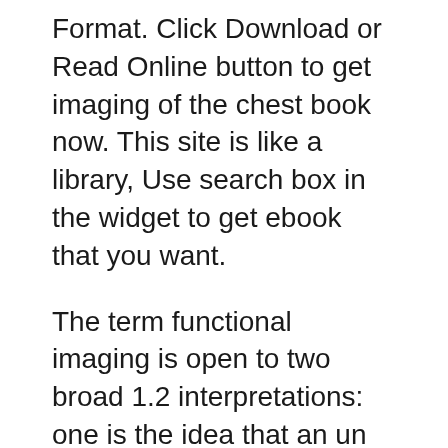Format. Click Download or Read Online button to get imaging of the chest book now. This site is like a library, Use search box in the widget to get ebook that you want.
The term functional imaging is open to two broad 1.2 interpretations: one is the idea that an un der stand ing Imaging Techniques Historically of functional abnormalities can be reached by corre- and Cur rent ly Used lation with objective quantin¬Ί cation of mor pho log i cal for Structure-Function Stud ies abnormalities shown on detailed 10/17/2018B B· Part of the highly regarded Specialty Imaging series, this followed by a new edition by D...